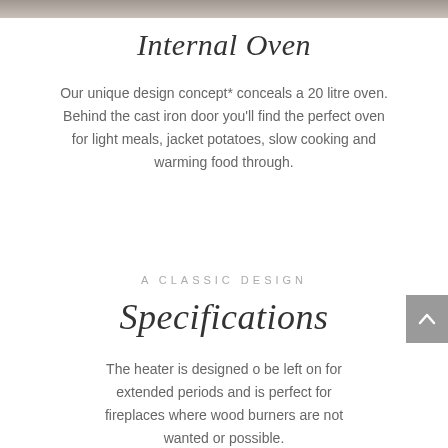[Figure (photo): Partial view of a fireplace or stove, cropped at top of page]
Internal Oven
Our unique design concept* conceals a 20 litre oven. Behind the cast iron door you'll find the perfect oven for light meals, jacket potatoes, slow cooking and warming food through.
A CLASSIC DESIGN
Specifications
The heater is designed o be left on for extended periods and is perfect for fireplaces where wood burners are not wanted or possible.